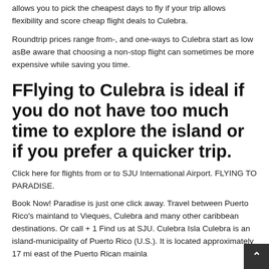allows you to pick the cheapest days to fly if your trip allows flexibility and score cheap flight deals to Culebra.
Roundtrip prices range from-, and one-ways to Culebra start as low asBe aware that choosing a non-stop flight can sometimes be more expensive while saving you time.
FFlying to Culebra is ideal if you do not have too much time to explore the island or if you prefer a quicker trip.
Click here for flights from or to SJU International Airport. FLYING TO PARADISE.
Book Now! Paradise is just one click away. Travel between Puerto Rico's mainland to Vieques, Culebra and many other caribbean destinations. Or call + 1 Find us at SJU. Culebra Isla Culebra is an island-municipality of Puerto Rico (U.S.). It is located approximately 17 mi east of the Puerto Rican mainla…